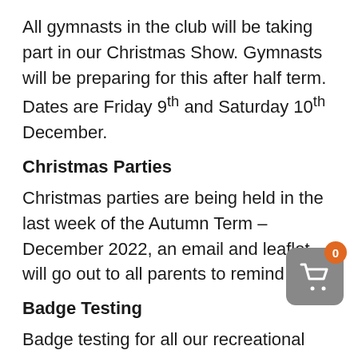All gymnasts in the club will be taking part in our Christmas Show. Gymnasts will be preparing for this after half term. Dates are Friday 9th and Saturday 10th December.
Christmas Parties
Christmas parties are being held in the last week of the Autumn Term – December 2022, an email and leaflet will go out to all parents to remind them.
Badge Testing
Badge testing for all our recreational gymnasts take place in the Spring term. Each child is assessed and tested to earn their badge for the level they have